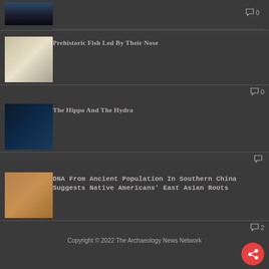[Figure (photo): Partial silhouette image of people at top of page]
0
[Figure (photo): Prehistoric fish fossil image]
Prehistoric Fish Led By Their Nose
0
[Figure (photo): The Hippo And The Hydra - hydra organism image]
The Hippo And The Hydra
[Figure (photo): Ancient skull fragment]
DNA From Ancient Population In Southern China Suggests Native Americans' East Asian Roots
2
Copyright © 2022 The Archaeology News Network